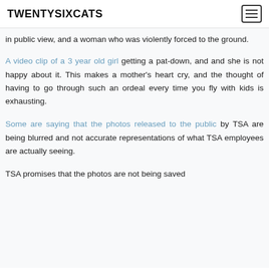TWENTYSIXCATS
in public view, and a woman who was violently forced to the ground.
A video clip of a 3 year old girl getting a pat-down, and and she is not happy about it. This makes a mother's heart cry, and the thought of having to go through such an ordeal every time you fly with kids is exhausting.
Some are saying that the photos released to the public by TSA are being blurred and not accurate representations of what TSA employees are actually seeing.
TSA promises that the photos are not being saved